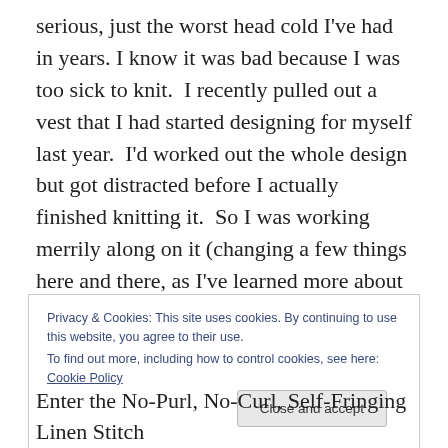serious, just the worst head cold I've had in years. I know it was bad because I was too sick to knit.  I recently pulled out a vest that I had started designing for myself last year.  I'd worked out the whole design but got distracted before I actually finished knitting it.  So I was working merrily along on it (changing a few things here and there, as I've learned more about garment sizing and construction in the intervening months) when– whammo!– this head cold hit.  Suddenly, I was too stupid to follow a simple lace chart.  I was even too stupid to purl.
Privacy & Cookies: This site uses cookies. By continuing to use this website, you agree to their use.
To find out more, including how to control cookies, see here: Cookie Policy
Enter the No-Purl, No-Curl, Self-Fringing Linen Stitch